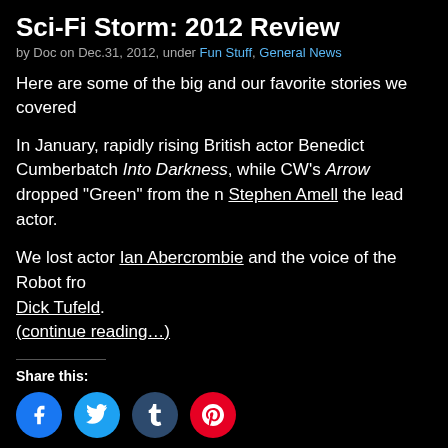Sci-Fi Storm: 2012 Review
by Doc on Dec.31, 2012, under Fun Stuff, General News
Here are some of the big and our favorite stories we covered
In January, rapidly rising British actor Benedict Cumberbatch Into Darkness, while CW's Arrow dropped "Green" from the n Stephen Amell the lead actor.
We lost actor Ian Abercrombie and the voice of the Robot from Dick Tufeld.
(continue reading…)
Share this:
[Figure (infographic): Social sharing icons: Facebook (blue circle), Twitter (light blue circle), Tumblr (dark blue circle), Pinterest (red circle)]
Comments Off | arrow, avengers, babylon 5, battlestar galactica, being
and chrome, clone wars, defiance, disney, doctor who, eureka, fringe, gaiman, ge
anderson, her universe, hunger games, john carter, lost in space, lucasfilm, red dw